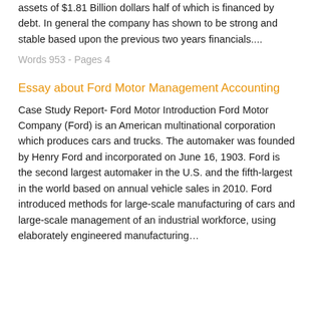assets of $1.81 Billion dollars half of which is financed by debt. In general the company has shown to be strong and stable based upon the previous two years financials....
Words 953 - Pages 4
Essay about Ford Motor Management Accounting
Case Study Report- Ford Motor Introduction Ford Motor Company (Ford) is an American multinational corporation which produces cars and trucks. The automaker was founded by Henry Ford and incorporated on June 16, 1903. Ford is the second largest automaker in the U.S. and the fifth-largest in the world based on annual vehicle sales in 2010. Ford introduced methods for large-scale manufacturing of cars and large-scale management of an industrial workforce, using elaborately engineered manufacturing…